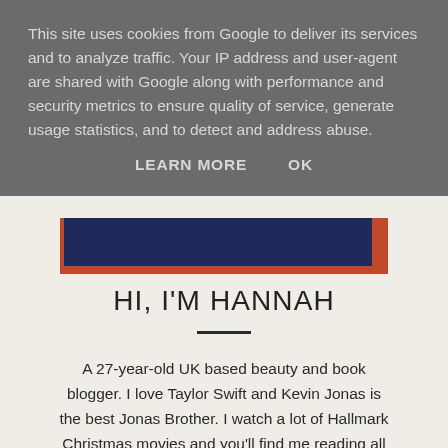This site uses cookies from Google to deliver its services and to analyze traffic. Your IP address and user-agent are shared with Google along with performance and security metrics to ensure quality of service, generate usage statistics, and to detect and address abuse.
LEARN MORE    OK
[Figure (photo): Partial photo strip showing a dark navy background with red border strip, partially obscured by the cookie overlay]
HI, I'M HANNAH
A 27-year-old UK based beauty and book blogger. I love Taylor Swift and Kevin Jonas is the best Jonas Brother. I watch a lot of Hallmark Christmas movies and you'll find me reading all the books.
Contact me: hannahheartss@outlook.com